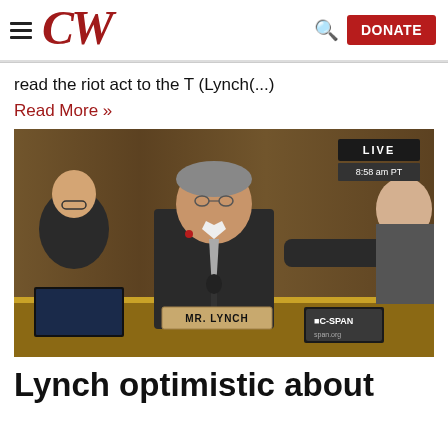CW — navigation header with hamburger menu, CW logo, search icon, and DONATE button
read the riot act to the T (Lynch(...)
Read More »
[Figure (photo): C-SPAN screenshot of Mr. Lynch (congressman) sitting at a hearing desk, pointing outward, with nameplate reading MR. LYNCH. LIVE 8:58 am PT watermark shown. Two other people visible in background.]
Lynch optimistic about